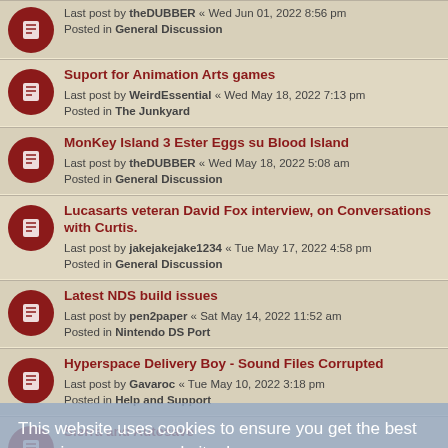Last post by theDUBBER « Wed Jun 01, 2022 8:56 pm
Posted in General Discussion
Suport for Animation Arts games
Last post by WeirdEssential « Wed May 18, 2022 7:13 pm
Posted in The Junkyard
MonKey Island 3 Ester Eggs su Blood Island
Last post by theDUBBER « Wed May 18, 2022 5:08 am
Posted in General Discussion
Lucasarts veteran David Fox interview, on Conversations with Curtis.
Last post by jakejakejake1234 « Tue May 17, 2022 4:58 pm
Posted in General Discussion
Latest NDS build issues
Last post by pen2paper « Sat May 14, 2022 11:52 am
Posted in Nintendo DS Port
Hyperspace Delivery Boy - Sound Files Corrupted
Last post by Gavaroc « Tue May 10, 2022 3:18 pm
Posted in Help and Support
Sierra and Autosave
Last post by eviltroupe « Tue May 10, 2022 2:29 pm
Posted in Help and Support
This website uses cookies to ensure you get the best experience on our website. Learn more
Take a deep breath and submerge yourself in Wetlands
Last post by gu3 « Fri Jul 01, 2022 8:08 pm
Posted in General Discussion
PS3 - ScummVM 2.5.1 AGS games not working
Last post by gradius3 « Sat Apr 30, 2022 7:36 am